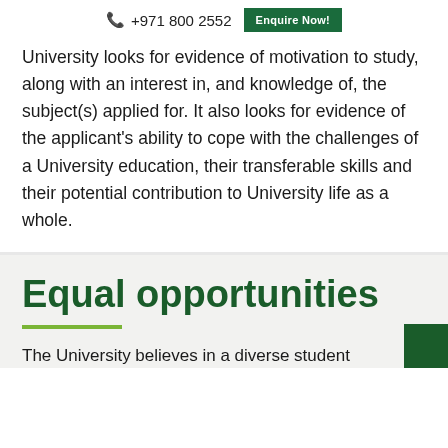+971 800 2552   Enquire Now!
University looks for evidence of motivation to study, along with an interest in, and knowledge of, the subject(s) applied for. It also looks for evidence of the applicant's ability to cope with the challenges of a University education, their transferable skills and their potential contribution to University life as a whole.
Equal opportunities
The University believes in a diverse student